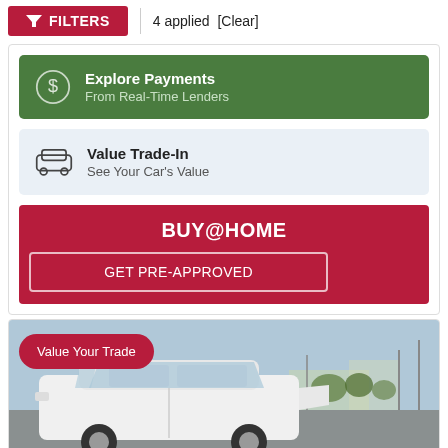FILTERS | 4 applied [Clear]
Explore Payments
From Real-Time Lenders
Value Trade-In
See Your Car's Value
BUY@HOME
GET PRE-APPROVED
[Figure (photo): White SUV/crossover vehicle photographed in a parking lot with open sky and trees visible in the background. Overlaid with a 'Value Your Trade' badge in the upper left.]